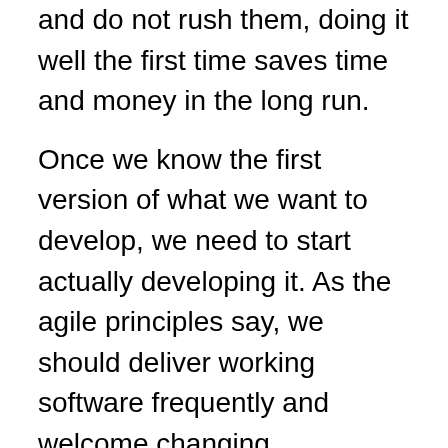and do not rush them, doing it well the first time saves time and money in the long run.
Once we know the first version of what we want to develop, we need to start actually developing it. As the agile principles say, we should deliver working software frequently and welcome changing requirements. Expectations evolve with business needs, and data driven teams must adapt quickly to ensure they are driving value where needed. Even if no new suggestions are made, keeping everyone updated about the development process is an investment that's useful in and of itself. A high focus should always be kept on the validation of this code: